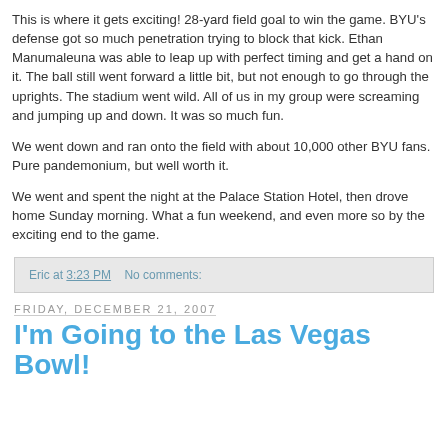This is where it gets exciting! 28-yard field goal to win the game. BYU's defense got so much penetration trying to block that kick. Ethan Manumaleuna was able to leap up with perfect timing and get a hand on it. The ball still went forward a little bit, but not enough to go through the uprights. The stadium went wild. All of us in my group were screaming and jumping up and down. It was so much fun.
We went down and ran onto the field with about 10,000 other BYU fans. Pure pandemonium, but well worth it.
We went and spent the night at the Palace Station Hotel, then drove home Sunday morning. What a fun weekend, and even more so by the exciting end to the game.
Eric at 3:23 PM   No comments:
Friday, December 21, 2007
I'm Going to the Las Vegas Bowl!